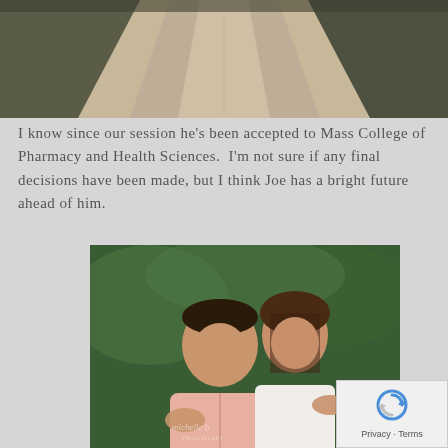[Figure (photo): Top portion of a gravel road or path with greenery on the sides, outdoor setting]
I know since our session he's been accepted to Mass College of Pharmacy and Health Sciences.  I'm not sure if any final decisions have been made, but I think Joe has a bright future ahead of him.
[Figure (photo): A smiling teenage boy in a pink button-up shirt and a smiling teenage girl with long brown hair, hugging each other outdoors with green trees in the background. A watermark reading 'michelle b Photography' is visible.]
Privacy · Terms